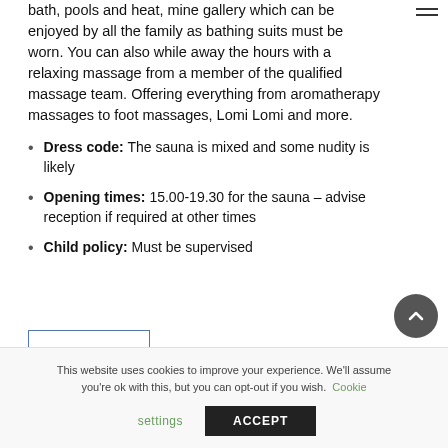bath, pools and heat, mine gallery which can be enjoyed by all the family as bathing suits must be worn. You can also while away the hours with a relaxing massage from a member of the qualified massage team. Offering everything from aromatherapy massages to foot massages, Lomi Lomi and more.
Dress code: The sauna is mixed and some nudity is likely
Opening times: 15.00-19.30 for the sauna – advise reception if required at other times
Child policy: Must be supervised
This website uses cookies to improve your experience. We'll assume you're ok with this, but you can opt-out if you wish. Cookie settings ACCEPT